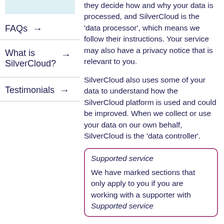FAQs →
What is SilverCloud? →
Testimonials →
they decide how and why your data is processed, and SilverCloud is the 'data processor', which means we follow their instructions. Your service may also have a privacy notice that is relevant to you.
SilverCloud also uses some of your data to understand how the SilverCloud platform is used and could be improved. When we collect or use your data on our own behalf, SilverCloud is the 'data controller'.
Supported service

We have marked sections that only apply to you if you are working with a supporter with Supported service